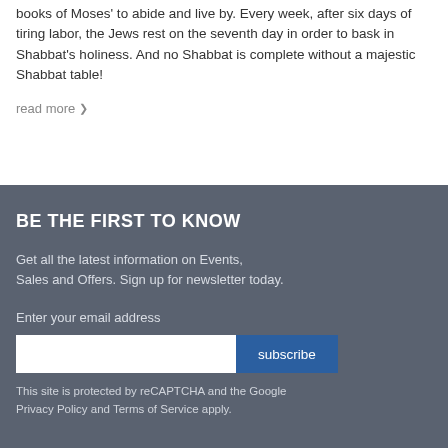books of Moses' to abide and live by. Every week, after six days of tiring labor, the Jews rest on the seventh day in order to bask in Shabbat's holiness. And no Shabbat is complete without a majestic Shabbat table!
read more
BE THE FIRST TO KNOW
Get all the latest information on Events, Sales and Offers. Sign up for newsletter today.
Enter your email address
subscribe
This site is protected by reCAPTCHA and the Google Privacy Policy and Terms of Service apply.